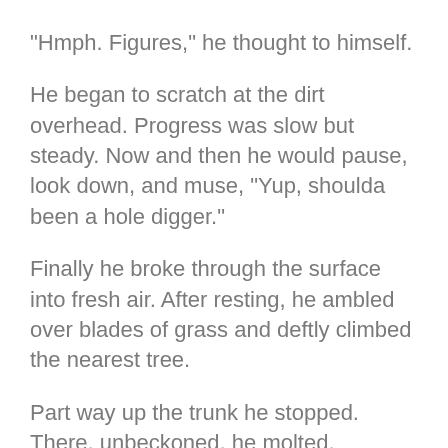"Hmph. Figures," he thought to himself.
He began to scratch at the dirt overhead. Progress was slow but steady. Now and then he would pause, look down, and muse, "Yup, shoulda been a hole digger."
Finally he broke through the surface into fresh air. After resting, he ambled over blades of grass and deftly climbed the nearest tree.
Part way up the trunk he stopped. There, unbeckoned, he molted, sloughing his cuticle skin. "Hmph! Figures," he thought, and then